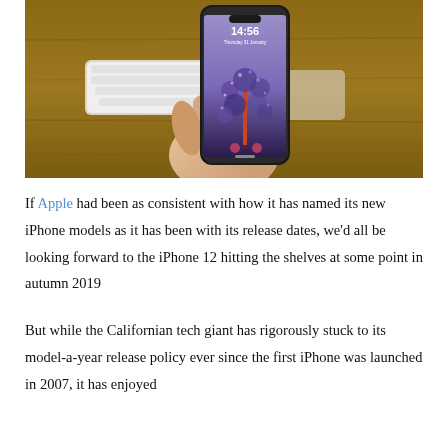[Figure (photo): A hand holding an iPhone with lock screen showing time 14:56 and a decorative tree wallpaper, with a white Apple keyboard visible in the background on a wooden desk.]
If Apple had been as consistent with how it has named its new iPhone models as it has been with its release dates, we'd all be looking forward to the iPhone 12 hitting the shelves at some point in autumn 2019
But while the Californian tech giant has rigorously stuck to its model-a-year release policy ever since the first iPhone was launched in 2007, it has enjoyed